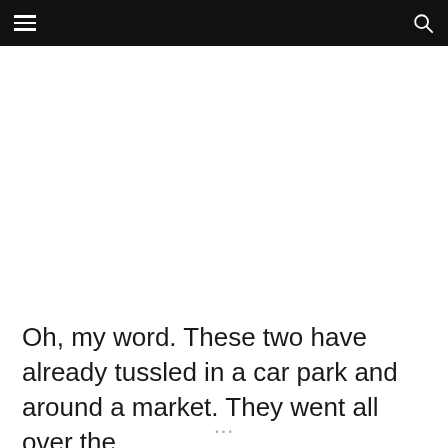≡  🔍
Oh, my word. These two have already tussled in a car park and around a market. They went all over the